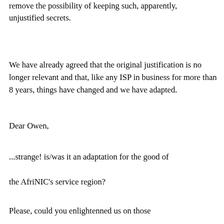remove the possibility of keeping such, apparently, unjustified secrets.
We have already agreed that the original justification is no longer relevant and that, like any ISP in business for more than 8 years, things have changed and we have adapted.
Dear Owen,
...strange! is/was it an adaptation for the good of the AfriNIC's service region?
Please, could you enlightenned us on those